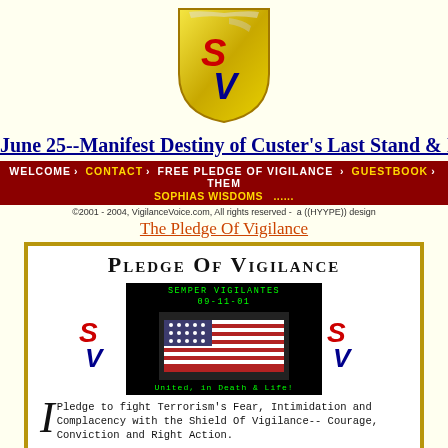[Figure (logo): Gold shield logo with red S and blue V letters, SV Vigilance Voice logo]
June 25--Manifest Destiny of Custer's Last Stand & Ir...
WELCOME | CONTACT | FREE PLEDGE OF VIGILANCE | GUESTBOOK | THEM... SOPHIAS WISDOMS | ...
©2001 - 2004, VigilanceVoice.com, All rights reserved - a ((HYYPE)) design
The Pledge Of Vigilance
[Figure (illustration): Pledge of Vigilance certificate with SV logos, black box with US flag, SEMPER VIGILANTES 09-11-01 text, United in Death & Life text]
I Pledge to fight Terrorism's Fear, Intimidation and Complacency with the Shield Of Vigilance-- Courage, Conviction and Right Action.
    I further Pledge to think and act with Vigilance for the benefit and safety of my Loved Ones as well as for the children of my society, and their children's children's children...